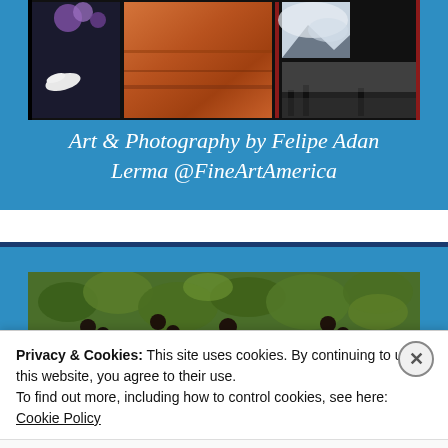[Figure (photo): Art and photography collage showing multiple framed images including flowers, landscape paintings, mountain scenes, and black and white photography on a dark background]
Art & Photography by Felipe Adan Lerma @FineArtAmerica
[Figure (photo): Partial view of green foliage/tree leaves photograph]
Privacy & Cookies: This site uses cookies. By continuing to use this website, you agree to their use.
To find out more, including how to control cookies, see here: Cookie Policy
Close and accept